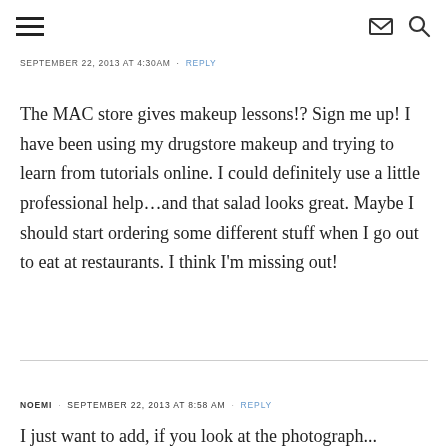[hamburger menu icon] [mail icon] [search icon]
SEPTEMBER 22, 2013 AT 4:30AM  ·  REPLY
The MAC store gives makeup lessons!? Sign me up! I have been using my drugstore makeup and trying to learn from tutorials online. I could definitely use a little professional help…and that salad looks great. Maybe I should start ordering some different stuff when I go out to eat at restaurants. I think I'm missing out!
NOEMI  ·  SEPTEMBER 22, 2013 AT 8:58 AM  ·  REPLY
I just want to add, if you look at the photograph...